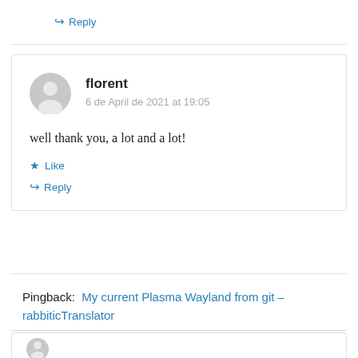↳ Reply
florent
6 de April de 2021 at 19:05

well thank you, a lot and a lot!

★ Like
↳ Reply
Pingback: My current Plasma Wayland from git – rabbiticTranslator